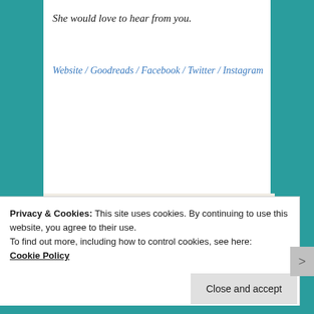She would love to hear from you.
Website / Goodreads / Facebook / Twitter / Instagram
[Figure (logo): XPRESSO logo text in thin serif/sans letters on a beige/cream background]
Privacy & Cookies: This site uses cookies. By continuing to use this website, you agree to their use.
To find out more, including how to control cookies, see here:
Cookie Policy
Close and accept